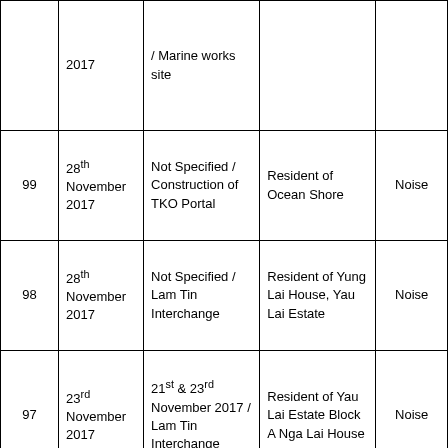|  | Date | Location/Site | Complainant | Subject |
| --- | --- | --- | --- | --- |
|  | 2017 | / Marine works site |  |  |
| 99 | 28th November 2017 | Not Specified / Construction of TKO Portal | Resident of Ocean Shore | Noise |
| 98 | 28th November 2017 | Not Specified / Lam Tin Interchange | Resident of Yung Lai House, Yau Lai Estate | Noise |
| 97 | 23rd November 2017 | 21st & 23rd November 2017 / Lam Tin Interchange | Resident of Yau Lai Estate Block A Nga Lai House | Noise |
|  |  |  |  |  |